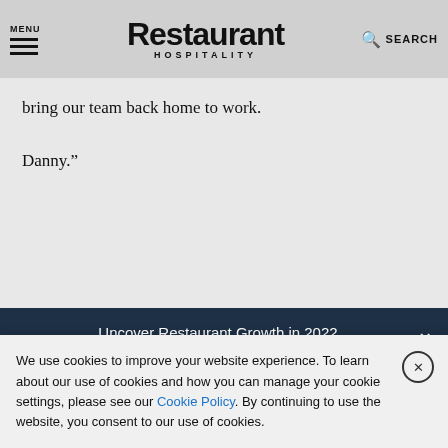MENU | Restaurant HOSPITALITY | SEARCH
bring our team back home to work.
Danny."
Uncover Restaurant Growth in 2022
[Figure (other): Grubhub's Guide to National Food Holidays promotional card on orange background with teal banner]
[Figure (other): Grubhub for Restaurants promotional card on red background with food icons and circles]
We use cookies to improve your website experience. To learn about our use of cookies and how you can manage your cookie settings, please see our Cookie Policy. By continuing to use the website, you consent to our use of cookies.